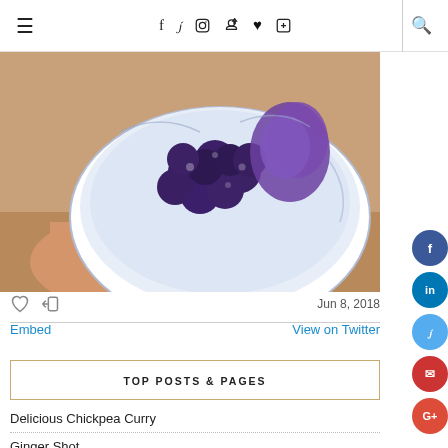≡  f  𝕏  ◻  ⊕  ♥  ⬛  🔍
[Figure (photo): Hand holding a blue and white patterned bowl filled with dark purple frozen blueberries and purple flowers, with a bracelet on the wrist.]
Jun 8, 2018
Embed   View on Twitter
TOP POSTS & PAGES
Delicious Chickpea Curry
Ginger Shot
TBS tests : Salixin